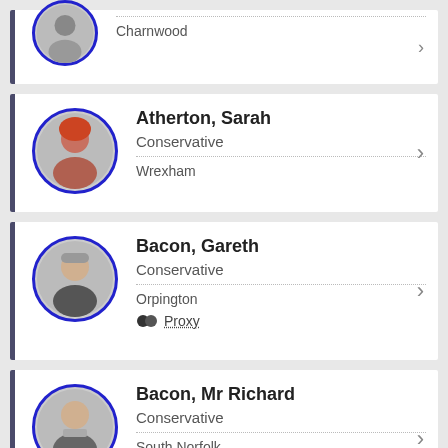Charnwood
Atherton, Sarah — Conservative — Wrexham
Bacon, Gareth — Conservative — Orpington — Proxy
Bacon, Mr Richard — Conservative — South Norfolk — Proxy